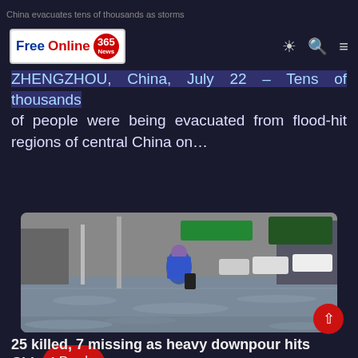China evacuates tens of thousands as storms
[Figure (logo): FreeOnline365 News logo — blue 'Free', red 'Online', red circular badge with '365' and 'News']
ZHENGZHOU, China, July 22 – Tens of thousands of people were being evacuated from flood-hit regions of central China on…
Read More »
[Figure (photo): A person wearing a blue raincoat wading through deep floodwater on a city street in China, with cars and buildings in the background]
25 killed, 7 missing as heavy downpour hits China's